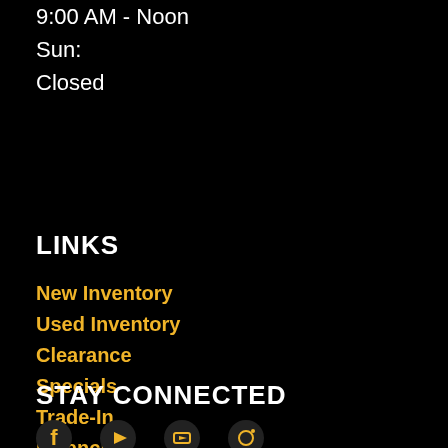9:00 AM - Noon
Sun:
Closed
LINKS
New Inventory
Used Inventory
Clearance
Specials
Trade-In
Financing
Service
Parts
STAY CONNECTED
[Figure (illustration): Social media icons row: Facebook, YouTube, and other social media platform icons in gold/yellow color]